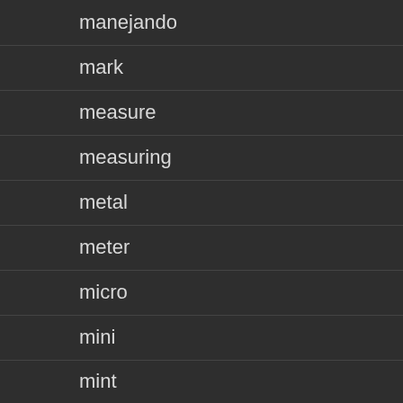manejando
mark
measure
measuring
metal
meter
micro
mini
mint